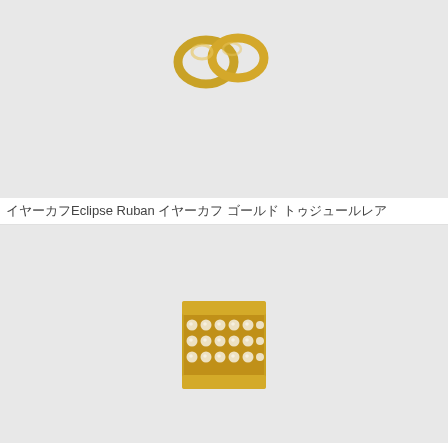[Figure (photo): Gold earring or ring with interlinked loops, shown on light gray background, cropped top portion visible]
イヤーカフEclipse Ruban イヤーカフ ゴールド トゥジュールレア
[Figure (photo): Gold band ring or earring cuff with two rows of pavé white crystals/diamonds, shown on light gray background, partially cropped at bottom]